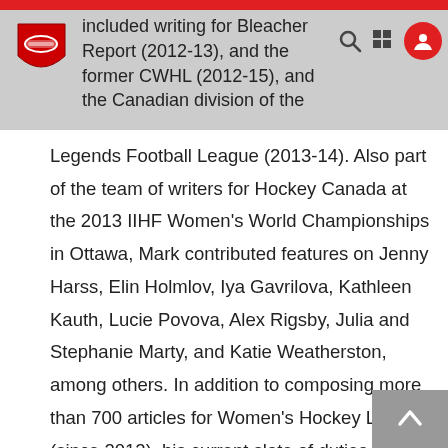included writing for Bleacher Report (2012-13), and the former CWHL (2012-15), and the Canadian division of the
Legends Football League (2013-14). Also part of the team of writers for Hockey Canada at the 2013 IIHF Women's World Championships in Ottawa, Mark contributed features on Jenny Harss, Elin Holmlov, Iya Gavrilova, Kathleen Kauth, Lucie Povova, Alex Rigsby, Julia and Stephanie Marty, and Katie Weatherston, among others. In addition to composing more than 700 articles for Women's Hockey Life (since 2012), his current slate of duties includes covering female tackle football for Canada Football Chat, along with pieces for NowVIZ Magazine (digital format) since its inaugural issue. Also the publisher of allowhertoplay, a website devoted to the heroics of sporting heroines, Mark remains focused on raising awareness of the positive impact of women in